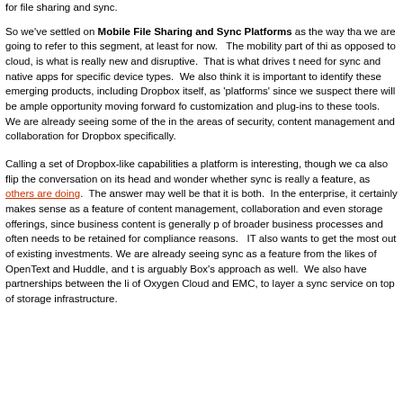for file sharing and sync.
So we've settled on Mobile File Sharing and Sync Platforms as the way that we are going to refer to this segment, at least for now.   The mobility part of this, as opposed to cloud, is what is really new and disruptive.  That is what drives the need for sync and native apps for specific device types.  We also think it is important to identify these emerging products, including Dropbox itself, as 'platforms' since we suspect there will be ample opportunity moving forward for customization and plug-ins to these tools.  We are already seeing some of these in the areas of security, content management and collaboration for Dropbox specifically.
Calling a set of Dropbox-like capabilities a platform is interesting, though we can also flip the conversation on its head and wonder whether sync is really a feature, as others are doing.  The answer may well be that it is both.  In the enterprise, it certainly makes sense as a feature of content management, collaboration and even storage offerings, since business content is generally part of broader business processes and often needs to be retained for compliance reasons.   IT also wants to get the most out of existing investments. We are already seeing sync as a feature from the likes of OpenText and Huddle, and this is arguably Box's approach as well.  We also have partnerships between the likes of Oxygen Cloud and EMC, to layer a sync service on top of storage infrastructure.